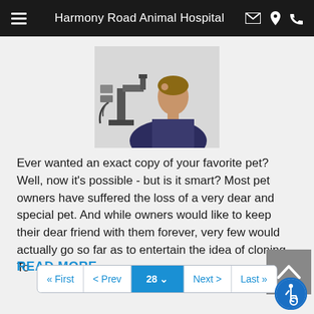Harmony Road Animal Hospital
[Figure (photo): Man looking through a microscope in a laboratory setting]
Ever wanted an exact copy of your favorite pet? Well, now it's possible - but is it smart? Most pet owners have suffered the loss of a very dear and special pet. And while owners would like to keep their dear friend with them forever, very few would actually go so far as to entertain the idea of cloning. To
READ MORE